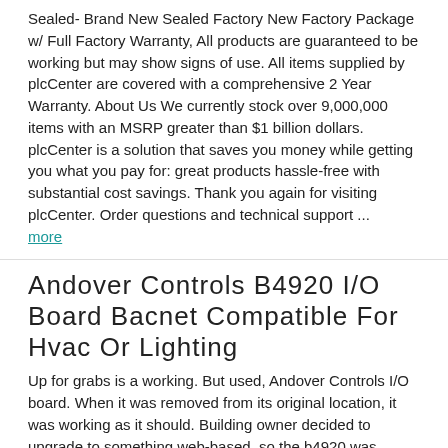Sealed- Brand New Sealed Factory New Factory Package w/ Full Factory Warranty, All products are guaranteed to be working but may show signs of use. All items supplied by plcCenter are covered with a comprehensive 2 Year Warranty. About Us We currently stock over 9,000,000 items with an MSRP greater than $1 billion dollars. plcCenter is a solution that saves you money while getting you what you pay for: great products hassle-free with substantial cost savings. Thank you again for visiting plcCenter. Order questions and technical support ... more
Andover Controls B4920 I/O Board Bacnet Compatible For Hvac Or Lighting
Up for grabs is a working. But used, Andover Controls I/O board. When it was removed from its original location, it was working as it should. Building owner decided to upgrade to something web-based, so the b4920 was removed and replaced. Part is sold"as is" with no warranty. Posted with
Andover Controls B3 866 VAV Controller
I have(19) B3 866 Series Andover VAV Controllers for sale. The actuators have been tested and all are believed to be working. I can offer thermostats with only 16 of the actuators if you are interested. Please let me know. Thank you for looking!